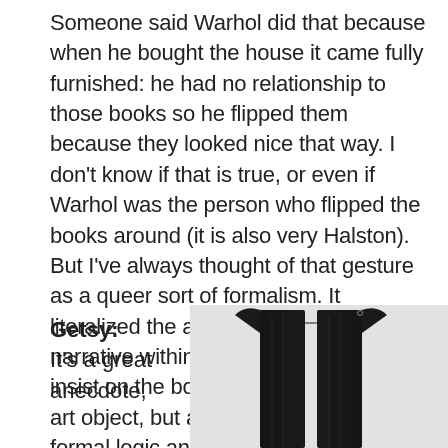Someone said Warhol did that because when he bought the house it came fully furnished: he had no relationship to those books so he flipped them because they looked nice that way. I don't know if that is true, or even if Warhol was the person who flipped the books around (it is also very Halston). But I've always thought of that gesture as a queer sort of formalism. It literalized the ambivalent place of narrative within contemporary art: to insist on the book as an object—not an art object, but as a block shaped by one formal logic and deployed in another.
Getsy: It's a great anecdote,
[Figure (photo): A dark black sleeveless garment or vest photographed against a light grey background, showing structured fabric with vertical panels]